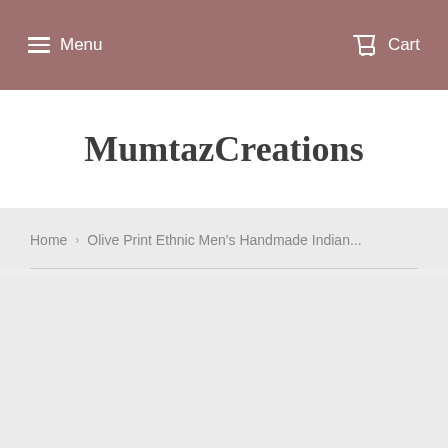Menu   Cart
MumtazCreations
Home › Olive Print Ethnic Men's Handmade Indian...